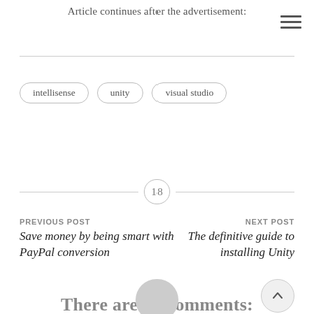Article continues after the advertisement:
intellisense
unity
visual studio
18
PREVIOUS POST
Save money by being smart with PayPal conversion
NEXT POST
The definitive guide to installing Unity
There are 18 comments: